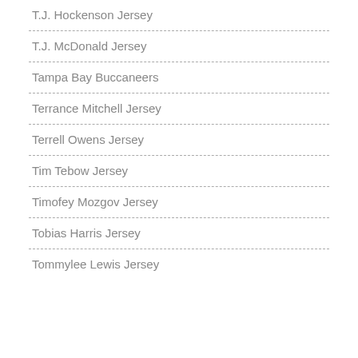T.J. Hockenson Jersey
T.J. McDonald Jersey
Tampa Bay Buccaneers
Terrance Mitchell Jersey
Terrell Owens Jersey
Tim Tebow Jersey
Timofey Mozgov Jersey
Tobias Harris Jersey
Tommylee Lewis Jersey